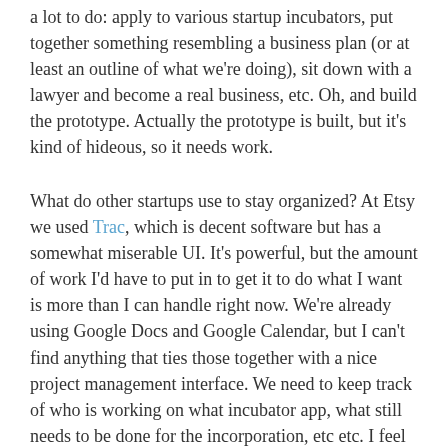a lot to do: apply to various startup incubators, put together something resembling a business plan (or at least an outline of what we're doing), sit down with a lawyer and become a real business, etc. Oh, and build the prototype. Actually the prototype is built, but it's kind of hideous, so it needs work.
What do other startups use to stay organized? At Etsy we used Trac, which is decent software but has a somewhat miserable UI. It's powerful, but the amount of work I'd have to put in to get it to do what I want is more than I can handle right now. We're already using Google Docs and Google Calendar, but I can't find anything that ties those together with a nice project management interface. We need to keep track of who is working on what incubator app, what still needs to be done for the incorporation, etc etc. I feel like just about everyone has this problem these days, so I'm interested in hearing everyone else's solutions.